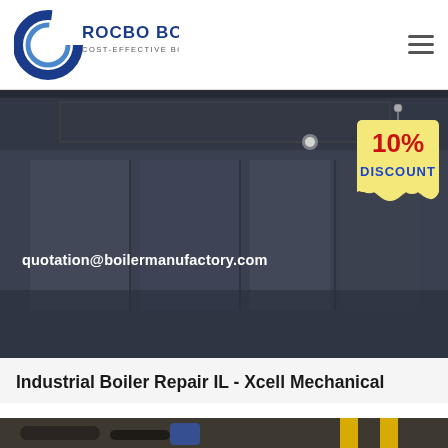[Figure (logo): Rocbo Boiler logo — circular C-shaped blue icon with text ROCBO BOILER and subtitle COST-EFFECTIVE BOILER SUPPLIER]
[Figure (infographic): Dark industrial hero banner showing a boiler facility interior with text quotation@boilermanufactory.com and a 10% DISCOUNT badge hanging on a sign]
Industrial Boiler Repair IL - Xcell Mechanical
[Figure (photo): Industrial boiler room with pipes and yellow scaffolding, partially visible at bottom of page]